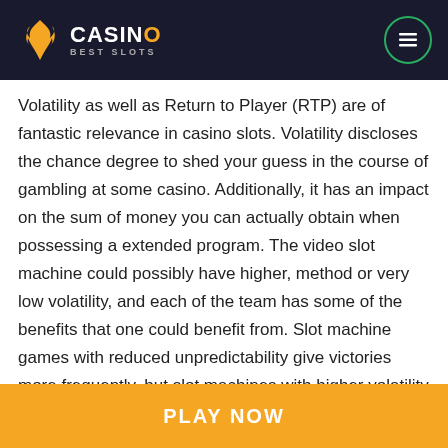[Figure (logo): Casino Best Slots logo with flame icon on dark header bar, and a circular menu icon on the right]
Volatility as well as Return to Player (RTP) are of fantastic relevance in casino slots. Volatility discloses the chance degree to shed your guess in the course of gambling at some casino. Additionally, it has an impact on the sum of money you can actually obtain when possessing a extended program. The video slot machine could possibly have higher, method or very low volatility, and each of the team has some of the benefits that one could benefit from. Slot machine games with reduced unpredictability give victories more frequently, but slot machines with higher volatility supply the very best wins. Return-to-Player is depicted being a percentage of the casino's earnings. Increased a part of internet slot games is generated by having an RTP of 93-
PLAY NOW